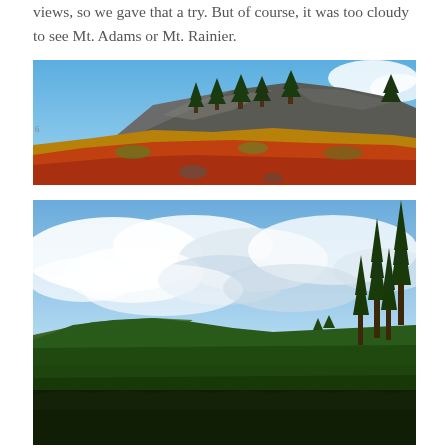views, so we gave that a try. But of course, it was too cloudy to see Mt. Adams or Mt. Rainier.
[Figure (photo): Rocky hilltop with evergreen trees against blue sky, foreground covered in red and orange fall foliage and golden shrubs on a slope.]
[Figure (photo): Mountain landscape with cloudy sky, forested hills in the distance, and tall conifer trees visible on the right side.]